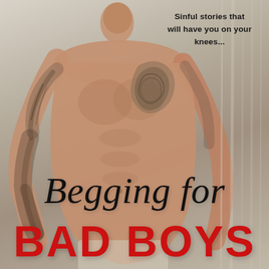[Figure (photo): Shirtless muscular tattooed man with sleeve tattoos and chest tattoos on a gritty gray background, shown from head to mid-thigh, looking to the side.]
Sinful stories that will have you on your knees...
Begging for BAD BOYS